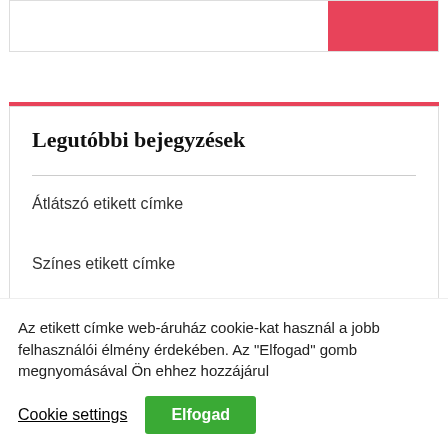[Figure (screenshot): Partial top card with a red button on the right]
Legutóbbi bejegyzések
Átlátszó etikett címke
Színes etikett címke
Plasztikkártya nyomtató
Címkenvomtató – minden méretben és
Az etikett címke web-áruház cookie-kat használ a jobb felhasználói élmény érdekében. Az "Elfogad" gomb megnyomásával Ön ehhez hozzájárul
Cookie settings
Elfogad